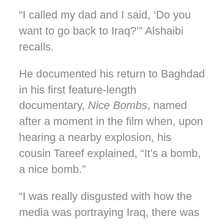“I called my dad and I said, ‘Do you want to go back to Iraq?’” Alshaibi recalls.
He documented his return to Baghdad in his first feature-length documentary, Nice Bombs, named after a moment in the film when, upon hearing a nearby explosion, his cousin Tareef explained, “It’s a bomb, a nice bomb.”
“I was really disgusted with how the media was portraying Iraq, there was no objective media,” Alshaibi said. “They were all embedded with the American military. So the perspective was through